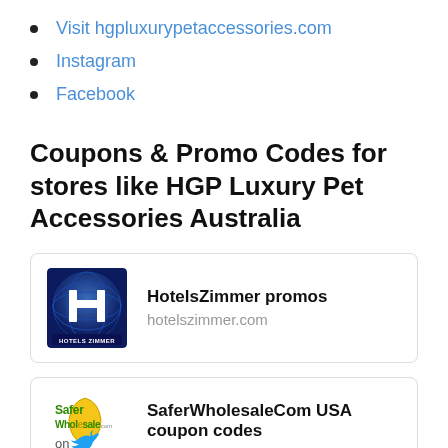Visit hgpluxurypetaccessories.com
Instagram
Facebook
Coupons & Promo Codes for stores like HGP Luxury Pet Accessories Australia
[Figure (logo): HotelsZimmer logo — blue globe with large H letter and 'HOTELS ZIMMER' text]
HotelsZimmer promos
hotelszimmer.com
[Figure (logo): SaferWholesale logo with green/yellow text and twitter bird icon, text reads 'Safer Wholesale on']
SaferWholesaleCom USA coupon codes
saferwholesale.com